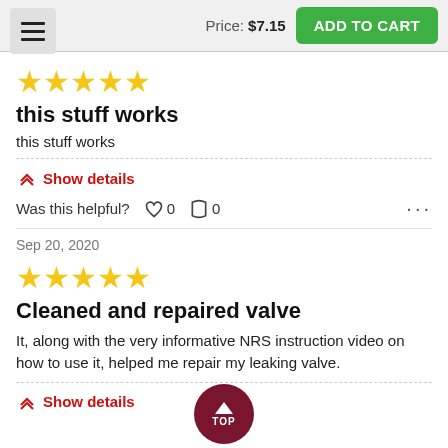Price: $7.15  ADD TO CART
[Figure (other): 5 yellow stars rating]
this stuff works
this stuff works
Show details
Was this helpful?  0  0  ...
Sep 20, 2020
[Figure (other): 5 yellow stars rating]
Cleaned and repaired valve
It, along with the very informative NRS instruction video on how to use it, helped me repair my leaking valve.
Show details